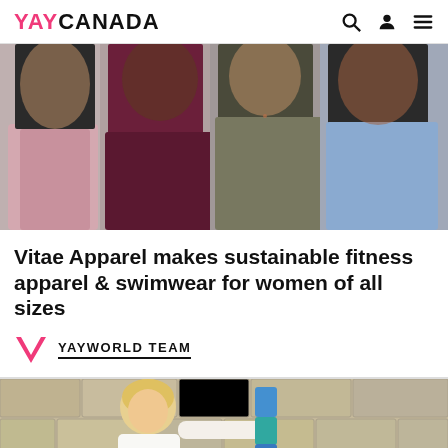YAYCANADA
[Figure (photo): Four women standing together wearing athletic/fitness apparel in various colors: pink, dark/black, burgundy/maroon, olive/khaki, and blue. Cropped to show torsos and lower bodies.]
Vitae Apparel makes sustainable fitness apparel & swimwear for women of all sizes
YAYWORLD TEAM
[Figure (photo): A young blonde child in a white long-sleeve top stacking colorful cylinders/blocks (blue, teal, orange) against a stone wall background.]